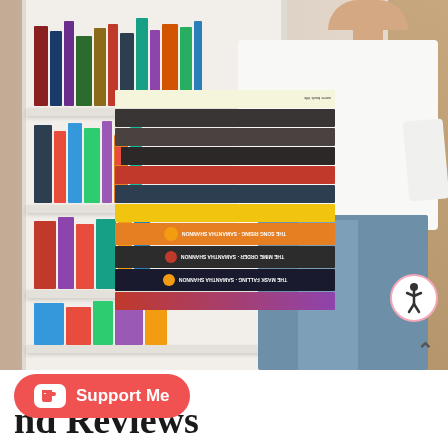[Figure (photo): A person in a white cardigan and jeans holding a large stack of books in front of a white bookshelf filled with books. The stacked books include titles from the Bone Season series by Samantha Shannon (The Mask Falling, The Mime Order, The Song Rising) and other novels. An accessibility icon (wheelchair symbol in a circle) is visible in the top right area of the image. A back-to-top chevron arrow is at the bottom right.]
Support Me
...nd Reviews